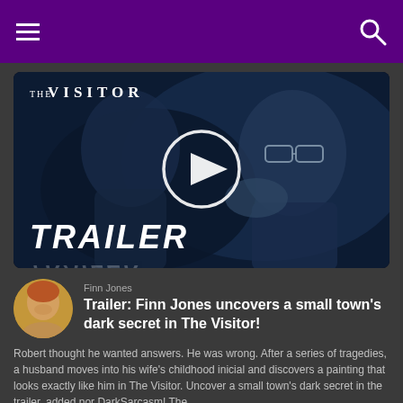Navigation bar with hamburger menu and search icon
[Figure (screenshot): Movie trailer thumbnail for 'The Visitor' showing a man with glasses looking frightened, with a play button overlay and text 'TRAILER' at the bottom]
Finn Jones
Trailer: Finn Jones uncovers a small town's dark secret in The Visitor!
Robert thought he wanted answers. He was wrong. After a series of tragedies, a husband moves into his wife's childhood inicial and discovers a painting that looks exactly like him in The Visitor. Uncover a small town's dark secret in the trailer, added por DarkSarcasm! The